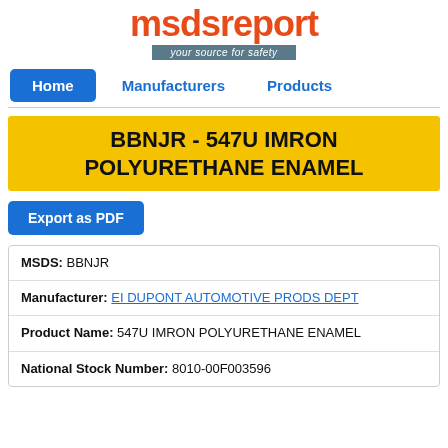[Figure (logo): msdsreport logo with tagline 'your source for safety']
Home   Manufacturers   Products
BBNJR - 547U IMRON POLYURETHANE ENAMEL
Export as PDF
| MSDS: BBNJR |
| Manufacturer: EI DUPONT AUTOMOTIVE PRODS DEPT |
| Product Name: 547U IMRON POLYURETHANE ENAMEL |
| National Stock Number: 8010-00F003596 |